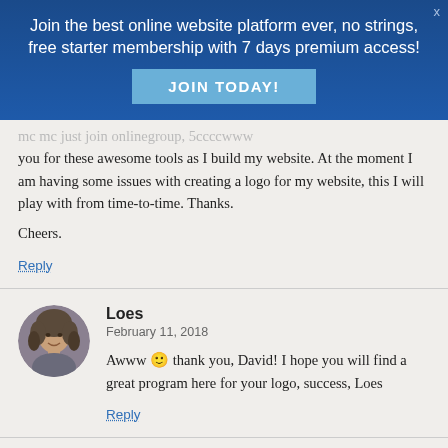[Figure (infographic): Blue promotional banner: 'Join the best online website platform ever, no strings, free starter membership with 7 days premium access!' with a 'JOIN TODAY!' button and an X close button in top right.]
...you for these awesome tools as I build my website. At the moment I am having some issues with creating a logo for my website, this I will play with from time-to-time. Thanks.

Cheers.
Reply
[Figure (photo): Circular avatar photo of Loes, a woman with curly hair.]
Loes
February 11, 2018
Awww 🙂 thank you, David! I hope you will find a great program here for your logo, success, Loes
Reply
[Figure (logo): Partial circular logo/avatar for Edward with star-like gold emblem.]
Edward